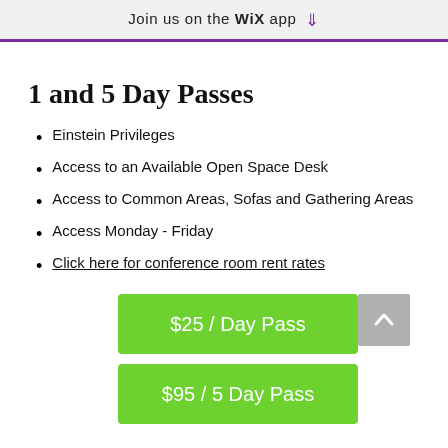Join us on the WiX app
1 and 5 Day Passes
Einstein Privileges
Access to an Available Open Space Desk
Access to Common Areas, Sofas and Gathering Areas
Access Monday - Friday
Click here for conference room rent rates
$25 / Day Pass
$95 / 5 Day Pass